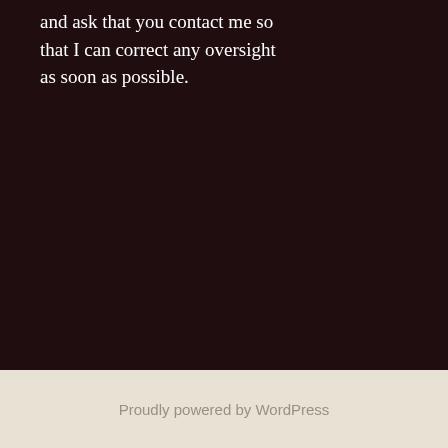and ask that you contact me so that I can correct any oversight as soon as possible.
Proudly powered by WordPress